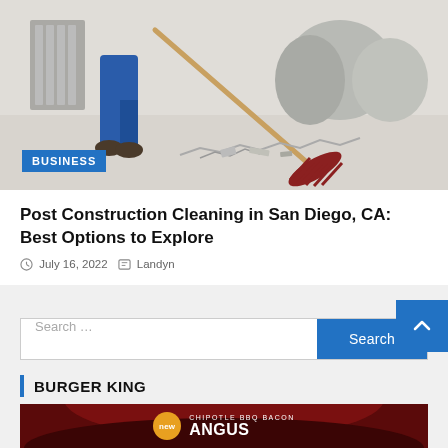[Figure (photo): Construction worker in blue overalls sweeping debris with a broom on a dusty floor, with garbage bags in the background]
BUSINESS
Post Construction Cleaning in San Diego, CA: Best Options to Explore
July 16, 2022   Landyn
Search ...
BURGER KING
[Figure (photo): Burger King advertisement for Chipotle BBQ Bacon Angus burger on dark red background with 'new' badge]